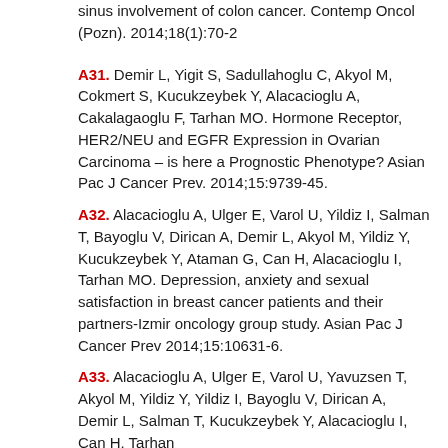sinus involvement of colon cancer. Contemp Oncol (Pozn). 2014;18(1):70-2
A31. Demir L, Yigit S, Sadullahoglu C, Akyol M, Cokmert S, Kucukzeybek Y, Alacacioglu A, Cakalagaoglu F, Tarhan MO. Hormone Receptor, HER2/NEU and EGFR Expression in Ovarian Carcinoma – is here a Prognostic Phenotype? Asian Pac J Cancer Prev. 2014;15:9739-45.
A32. Alacacioglu A, Ulger E, Varol U, Yildiz I, Salman T, Bayoglu V, Dirican A, Demir L, Akyol M, Yildiz Y, Kucukzeybek Y, Ataman G, Can H, Alacacioglu I, Tarhan MO. Depression, anxiety and sexual satisfaction in breast cancer patients and their partners-Izmir oncology group study. Asian Pac J Cancer Prev 2014;15:10631-6.
A33. Alacacioglu A, Ulger E, Varol U, Yavuzsen T, Akyol M, Yildiz Y, Yildiz I, Bayoglu V, Dirican A, Demir L, Salman T, Kucukzeybek Y, Alacacioglu I, Can H, Tarhan